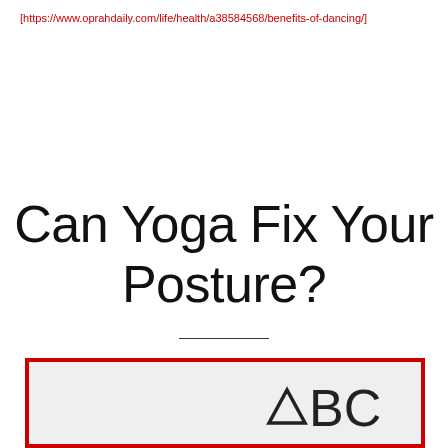[https://www.oprahdaily.com/life/health/a38584568/benefits-of-dancing/]
Can Yoga Fix Your Posture?
[Figure (screenshot): Partial screenshot or image preview with red border showing 'ABC' logo text on the right side, partial figure on the left, gray background]